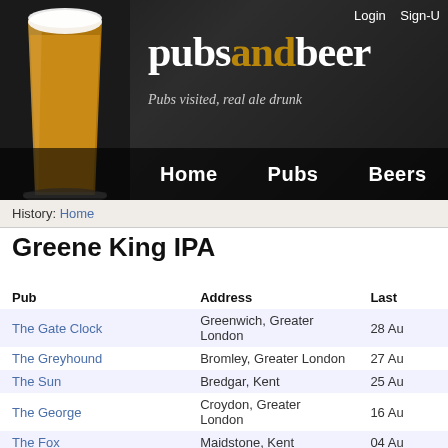[Figure (screenshot): Website header banner for pubsandbeer.com showing a beer glass photo, site logo 'pubs and beer' with tagline 'Pubs visited, real ale drunk', Login/Sign-Up links, and navigation menu with Home, Pubs, Beers links]
History: Home
Greene King IPA
| Pub | Address | Last |
| --- | --- | --- |
| The Gate Clock | Greenwich, Greater London | 28 Au |
| The Greyhound | Bromley, Greater London | 27 Au |
| The Sun | Bredgar, Kent | 25 Au |
| The George | Croydon, Greater London | 16 Au |
| The Fox | Maidstone, Kent | 04 Au |
| The Tremenheere | Penzance, Cornwall | 16 Ju |
| The Brockley Barge | Brockley, Greater London | 13 Ju |
| Heathfield Inn | Honiton, Devon | 12 Ju |
| The London & Rye | Catford, Greater London | 10 Ju |
| Maldon Grey | Sudbury, Suffolk | 18 Ju |
| The Victoria | Hitchin, Hertfordshire | 10 Ju |
| The Cock Inn (duplicate entry) | Henham, Essex | 04 Ju |